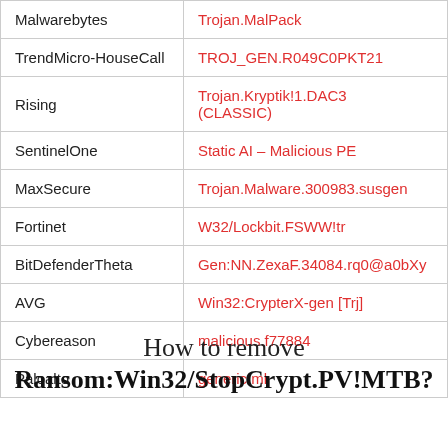| Vendor | Detection |
| --- | --- |
| Malwarebytes | Trojan.MalPack |
| TrendMicro-HouseCall | TROJ_GEN.R049C0PKT21 |
| Rising | Trojan.Kryptik!1.DAC3 (CLASSIC) |
| SentinelOne | Static AI – Malicious PE |
| MaxSecure | Trojan.Malware.300983.susgen |
| Fortinet | W32/Lockbit.FSWW!tr |
| BitDefenderTheta | Gen:NN.ZexaF.34084.rq0@a0bXy |
| AVG | Win32:CrypterX-gen [Trj] |
| Cybereason | malicious.f77884 |
| Paloalto | generic.ml |
How to remove Ransom:Win32/StopCrypt.PV!MTB?